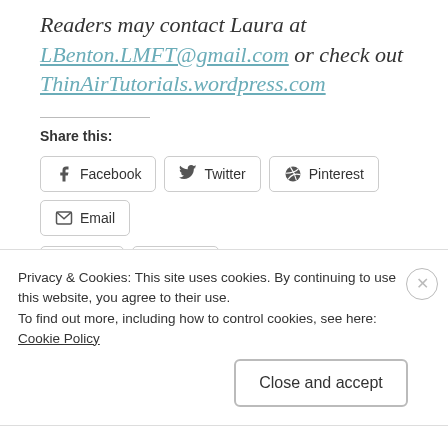Readers may contact Laura at LBenton.LMFT@gmail.com or check out ThinAirTutorials.wordpress.com
Share this:
[Figure (screenshot): Social sharing buttons: Facebook, Twitter, Pinterest, Email, Print, More]
Like this:
Privacy & Cookies: This site uses cookies. By continuing to use this website, you agree to their use.
To find out more, including how to control cookies, see here: Cookie Policy
Close and accept